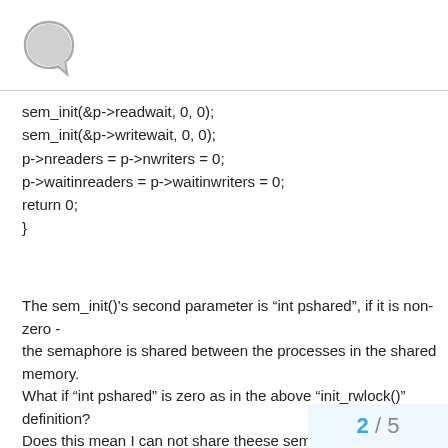Discourse logo
sem_init(&p->readwait, 0, 0);
sem_init(&p->writewait, 0, 0);
p->nreaders = p->nwriters = 0;
p->waitinreaders = p->waitinwriters = 0;
return 0;
}
The sem_init()'s second parameter is "int pshared", if it is non-zero -
the semaphore is shared between the processes in the shared memory.
What if "int pshared" is zero as in the above "init_rwlock()" definition?
Does this mean I can not share theese semaphores in the shared memory?

May I edit the "init_rwlock()" definition so that "sem_init(&p->readwait,
1, 0); sem_init(&p->writewait, 1, 0);", will it
2 / 5